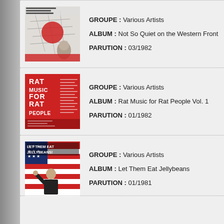GROUPE : Various Artists
ALBUM : Not So Quiet on the Western Front
PARUTION : 03/1982
GROUPE : Various Artists
ALBUM : Rat Music for Rat People Vol. 1
PARUTION : 01/1982
GROUPE : Various Artists
ALBUM : Let Them Eat Jellybeans
PARUTION : 01/1981